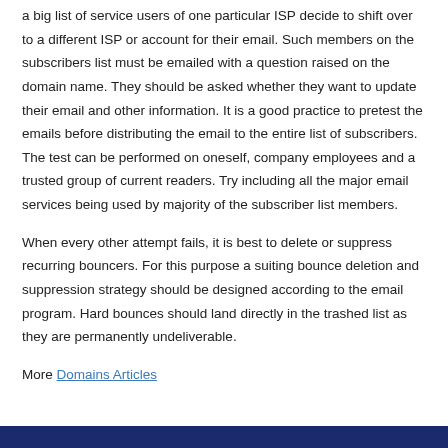a big list of service users of one particular ISP decide to shift over to a different ISP or account for their email. Such members on the subscribers list must be emailed with a question raised on the domain name. They should be asked whether they want to update their email and other information. It is a good practice to pretest the emails before distributing the email to the entire list of subscribers. The test can be performed on oneself, company employees and a trusted group of current readers. Try including all the major email services being used by majority of the subscriber list members.
When every other attempt fails, it is best to delete or suppress recurring bouncers. For this purpose a suiting bounce deletion and suppression strategy should be designed according to the email program. Hard bounces should land directly in the trashed list as they are permanently undeliverable.
More Domains Articles